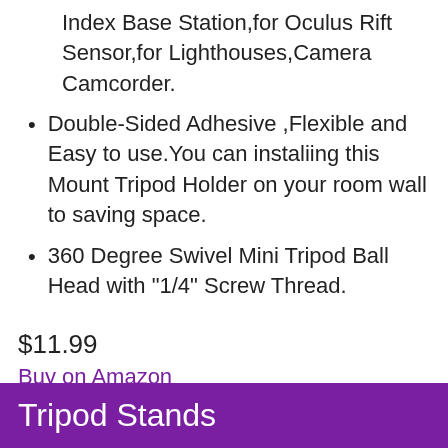Index Base Station,for Oculus Rift Sensor,for Lighthouses,Camera Camcorder.
Double-Sided Adhesive ,Flexible and Easy to use.You can instaliing this Mount Tripod Holder on your room wall to saving space.
360 Degree Swivel Mini Tripod Ball Head with "1/4" Screw Thread.
$11.99
Buy on Amazon
Tripod Stands